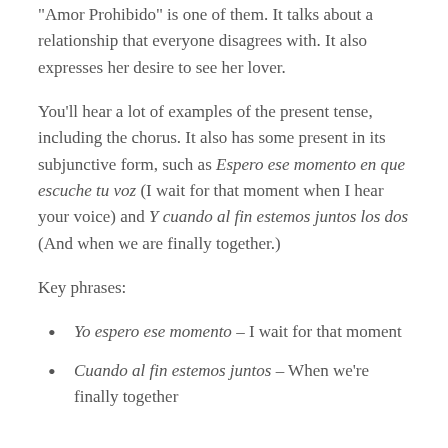“Amor Prohibido” is one of them. It talks about a relationship that everyone disagrees with. It also expresses her desire to see her lover.
You’ll hear a lot of examples of the present tense, including the chorus. It also has some present in its subjunctive form, such as Espero ese momento en que escuche tu voz (I wait for that moment when I hear your voice) and Y cuando al fin estemos juntos los dos (And when we are finally together.)
Key phrases:
Yo espero ese momento – I wait for that moment
Cuando al fin estemos juntos – When we’re finally together